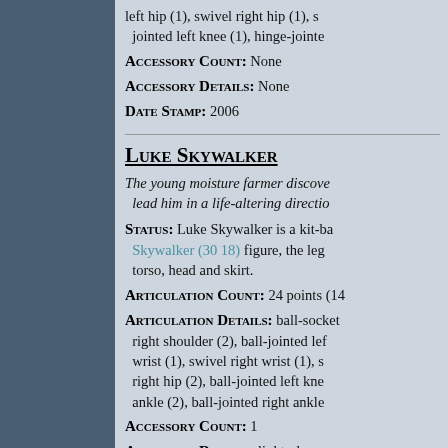left hip (1), swivel right hip (1), s... jointed left knee (1), hinge-jointe...
Accessory Count: None
Accessory Details: None
Date Stamp: 2006
Luke Skywalker
The young moisture farmer discove... lead him in a life-altering directio...
Status: Luke Skywalker is a kit-ba... Skywalker (30 18) figure, the leg... torso, head and skirt.
Articulation Count: 24 points (14...
Articulation Details: ball-socket right shoulder (2), ball-jointed lef... wrist (1), swivel right wrist (1), s... right hip (2), ball-jointed left kne... ankle (2), ball-jointed right ankle...
Accessory Count: 1
Accessory Details: lightsaber
Date Stamp: 2004
Obi-Wan Kenobi